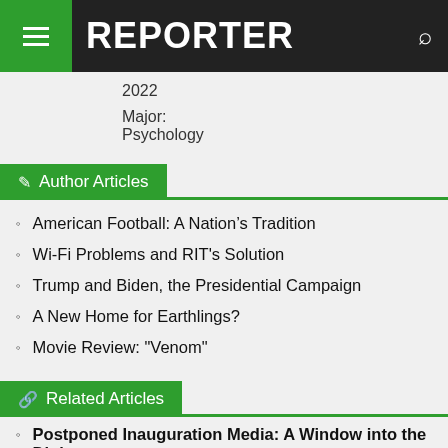REPORTER
2022
Major:
Psychology
Author Articles
American Football: A Nation’s Tradition
Wi-Fi Problems and RIT's Solution
Trump and Biden, the Presidential Campaign
A New Home for Earthlings?
Movie Review: "Venom"
Related Articles
Postponed Inauguration Media: A Window into the Digit...